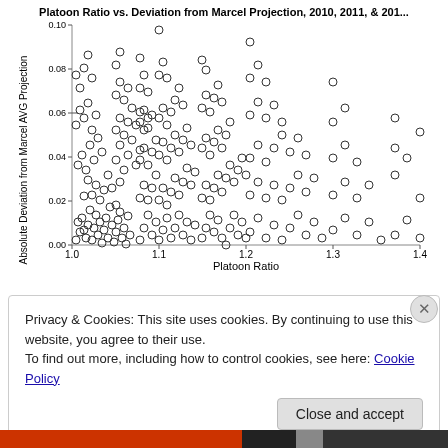[Figure (continuous-plot): Scatter plot of Platoon Ratio (x-axis, 1.0 to 1.4) vs Absolute Deviation from Marcel AVG Projection (y-axis, 0.00 to 0.10). Dense cloud of open circle points concentrated around x=1.0-1.2, y=0.00-0.06, with sparser points at higher x values. General trend shows higher deviation at lower platoon ratios with wide spread.]
Privacy & Cookies: This site uses cookies. By continuing to use this website, you agree to their use.
To find out more, including how to control cookies, see here: Cookie Policy
Close and accept